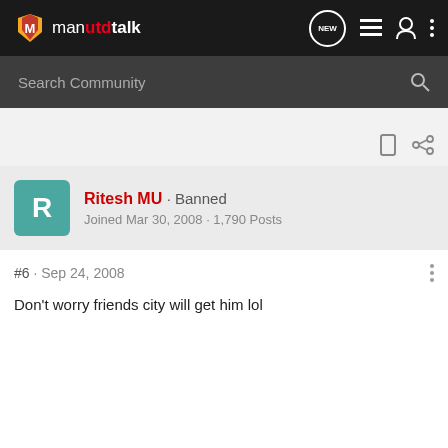manutdtalk
Search Community
Ritesh MU · Banned
Joined Mar 30, 2008 · 1,790 Posts
#6 · Sep 24, 2008
Don't worry friends city will get him lol